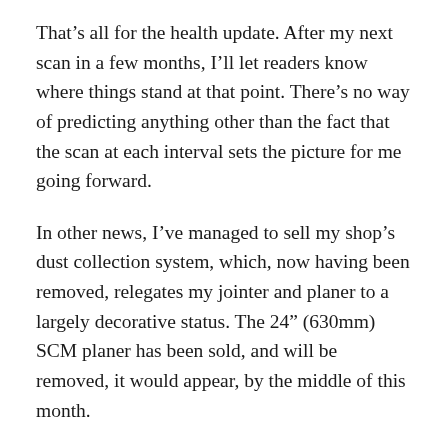That's all for the health update. After my next scan in a few months, I'll let readers know where things stand at that point. There's no way of predicting anything other than the fact that the scan at each interval sets the picture for me going forward.
In other news, I've managed to sell my shop's dust collection system, which, now having been removed, relegates my jointer and planer to a largely decorative status. The 24" (630mm) SCM planer has been sold, and will be removed, it would appear, by the middle of this month.
I've had several serious inquiries about the Martin jointer. One, about a month back, was from a guy up on St. John in Newfoundland who took a good couple of